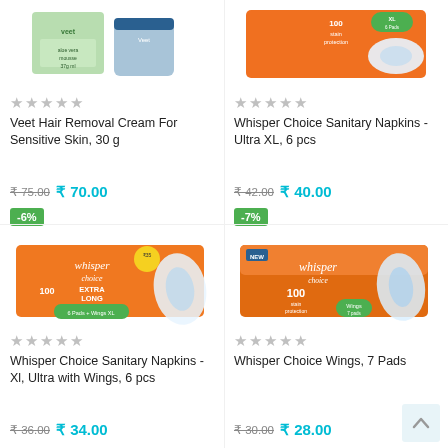[Figure (photo): Veet Hair Removal Cream product image - green and blue packaging]
★★★★★ (empty stars rating)
Veet Hair Removal Cream For Sensitive Skin, 30 g
₹ 75.00 ₹ 70.00
-6%
[Figure (photo): Whisper Choice Sanitary Napkins Ultra XL 6 pcs product image - orange packaging]
★★★★★ (empty stars rating)
Whisper Choice Sanitary Napkins - Ultra XL, 6 pcs
₹ 42.00 ₹ 40.00
-7%
[Figure (photo): Whisper Choice Extra Large Sanitary Napkins with Wings product image - orange box]
★★★★★ (empty stars rating)
Whisper Choice Sanitary Napkins - Xl, Ultra with Wings, 6 pcs
₹ 36.00 ₹ 34.00
[Figure (photo): Whisper Choice Wings 7 Pads product image - orange packaging]
★★★★★ (empty stars rating)
Whisper Choice Wings, 7 Pads
₹ 30.00 ₹ 28.00